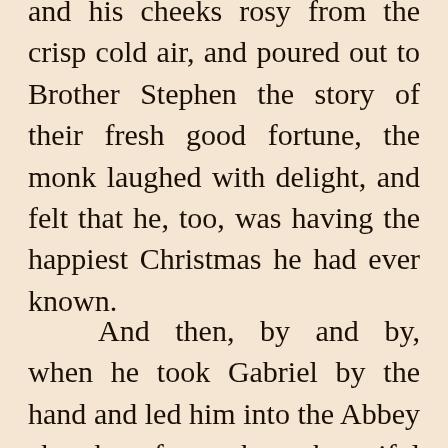and his cheeks rosy from the crisp cold air, and poured out to Brother Stephen the story of their fresh good fortune, the monk laughed with delight, and felt that he, too, was having the happiest Christmas he had ever known.
And then, by and by, when he took Gabriel by the hand and led him into the Abbey church for the beautiful Christmas service, as the little boy knelt on the stone